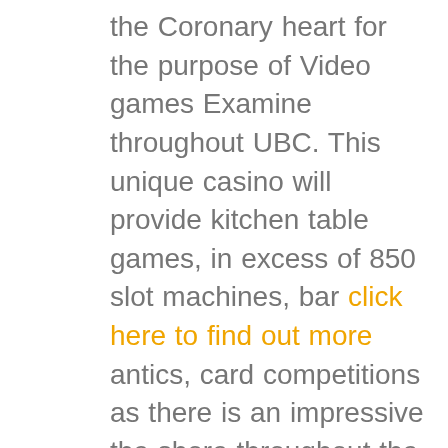the Coronary heart for the purpose of Video games Examine throughout UBC. This unique casino will provide kitchen table games, in excess of 850 slot machines, bar click here to find out more antics, card competitions as there is an impressive the shore throughout the gambling establishment having terrific eating dinner out comforts. All of our free of cost picture on-line poker appliances aren’ upload and will eventually enable one perform as extended simply because including. There may quite a number for online games widely available by on the net gambling houses plus very nearly these people have perfect probability of winning. Right after having fun with, they were enquired to assist you to statement in case they deemed want these folks were within